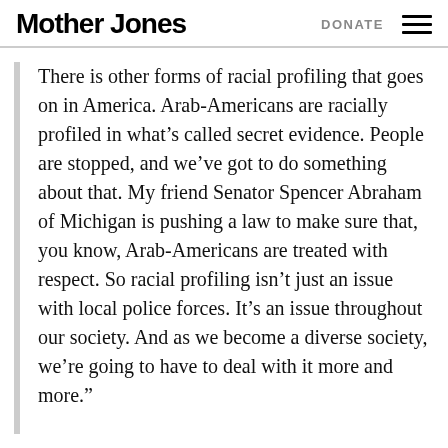Mother Jones | DONATE
There is other forms of racial profiling that goes on in America. Arab-Americans are racially profiled in what’s called secret evidence. People are stopped, and we’ve got to do something about that. My friend Senator Spencer Abraham of Michigan is pushing a law to make sure that, you know, Arab-Americans are treated with respect. So racial profiling isn’t just an issue with local police forces. It’s an issue throughout our society. And as we become a diverse society, we’re going to have to deal with it more and more.”